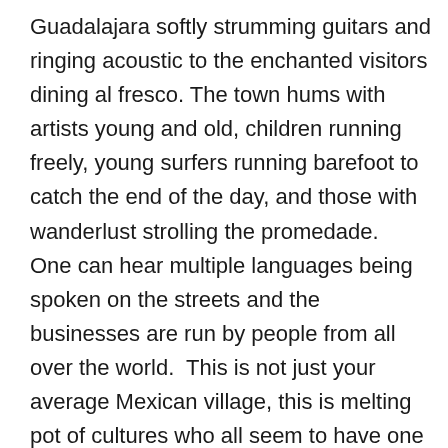Guadalajara softly strumming guitars and ringing acoustic to the enchanted visitors dining al fresco. The town hums with artists young and old, children running freely, young surfers running barefoot to catch the end of the day, and those with wanderlust strolling the promedade.  One can hear multiple languages being spoken on the streets and the businesses are run by people from all over the world.  This is not just your average Mexican village, this is melting pot of cultures who all seem to have one thing in common… a desire to savor life and to slow it down a bit.
Every neighborhood in San Pancho has its charm, and most all are walking distance to the